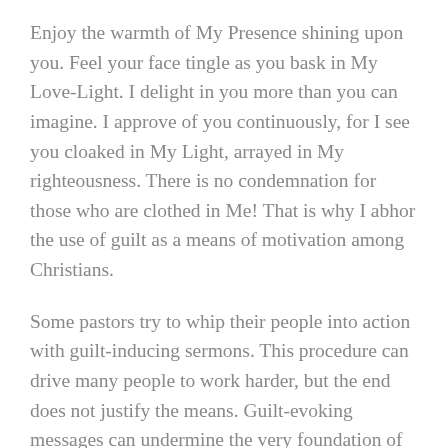Enjoy the warmth of My Presence shining upon you. Feel your face tingle as you bask in My Love-Light. I delight in you more than you can imagine. I approve of you continuously, for I see you cloaked in My Light, arrayed in My righteousness. There is no condemnation for those who are clothed in Me! That is why I abhor the use of guilt as a means of motivation among Christians.
Some pastors try to whip their people into action with guilt-inducing sermons. This procedure can drive many people to work harder, but the end does not justify the means. Guilt-evoking messages can undermine the very foundation of grace in a believer's heart. A pastor may feel successful when his people are doing more, but I look at their hearts. I grieve when I see grace eroding with words of